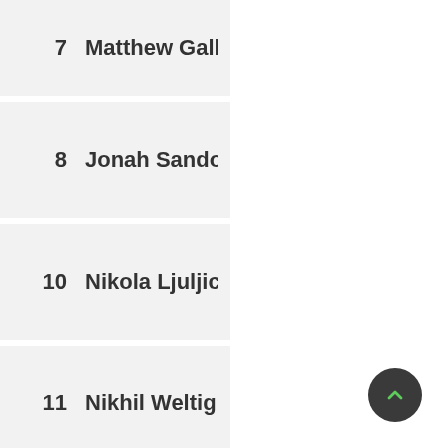| # | Name |
| --- | --- |
| 7 | Matthew Galla… |
| 8 | Jonah Sando… |
| 10 | Nikola Ljuljic… |
| 11 | Nikhil Weltig… |
| 12 | Sean Carty |
| 14 | Zein Ahmemu… |
| 15 | Calvin Quinn… |